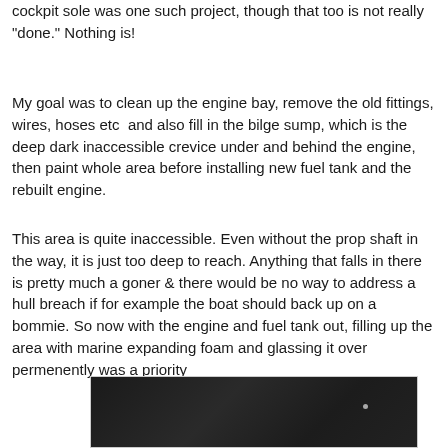cockpit sole was one such project, though that too is not really "done." Nothing is!
My goal was to clean up the engine bay, remove the old fittings, wires, hoses etc  and also fill in the bilge sump, which is the deep dark inaccessible crevice under and behind the engine, then paint whole area before installing new fuel tank and the rebuilt engine.
This area is quite inaccessible. Even without the prop shaft in the way, it is just too deep to reach. Anything that falls in there is pretty much a goner & there would be no way to address a hull breach if for example the boat should back up on a bommie. So now with the engine and fuel tank out, filling up the area with marine expanding foam and glassing it over permenently was a priority
[Figure (photo): Dark photograph showing the engine bay area of a boat, bottom portion of page]